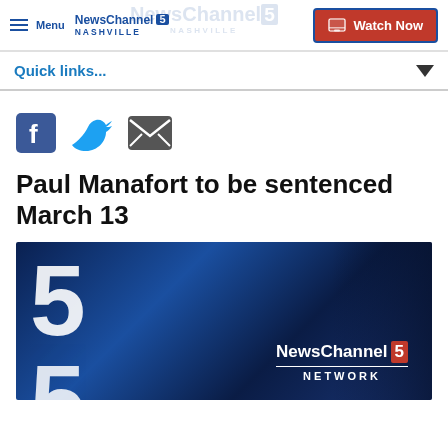Menu | NewsChannel 5 Nashville | Watch Now
Quick links...
[Figure (other): Social share icons: Facebook, Twitter, Email]
Paul Manafort to be sentenced March 13
[Figure (other): NewsChannel 5 Network branded video thumbnail with large numeral 5 and logo overlay on dark blue background]